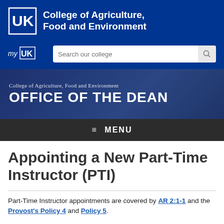[Figure (logo): University of Kentucky College of Agriculture, Food and Environment logo with UK emblem and college name in white text on blue background]
[Figure (screenshot): myUK logo and search bar with 'Search our college' placeholder on blue background]
[Figure (screenshot): Hero banner with 'College of Agriculture, Food and Environment' subtitle and 'OFFICE OF THE DEAN' title on blue background with image overlay]
≡ MENU
Appointing a New Part-Time Instructor (PTI)
Part-Time Instructor appointments are covered by AR 2:1-1 and the Provost's Policy 4 and Policy 5.